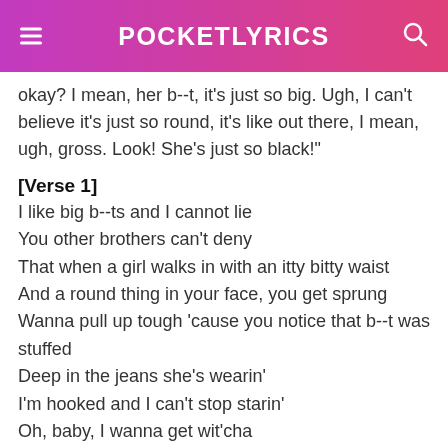POCKETLYRICS
okay? I mean, her b--t, it's just so big. Ugh, I can't believe it's just so round, it's like out there, I mean, ugh, gross. Look! She's just so black!"
[Verse 1]
I like big b--ts and I cannot lie
You other brothers can't deny
That when a girl walks in with an itty bitty waist
And a round thing in your face, you get sprung
Wanna pull up tough 'cause you notice that b--t was stuffed
Deep in the jeans she's wearin'
I'm hooked and I can't stop starin'
Oh, baby, I wanna get wit'cha
And take your picture